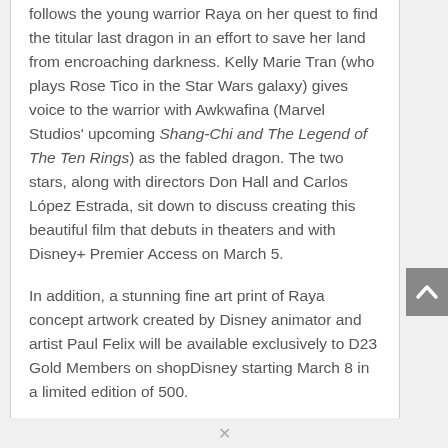follows the young warrior Raya on her quest to find the titular last dragon in an effort to save her land from encroaching darkness. Kelly Marie Tran (who plays Rose Tico in the Star Wars galaxy) gives voice to the warrior with Awkwafina (Marvel Studios' upcoming Shang-Chi and The Legend of The Ten Rings) as the fabled dragon. The two stars, along with directors Don Hall and Carlos López Estrada, sit down to discuss creating this beautiful film that debuts in theaters and with Disney+ Premier Access on March 5.

In addition, a stunning fine art print of Raya concept artwork created by Disney animator and artist Paul Felix will be available exclusively to D23 Gold Members on shopDisney starting March 8 in a limited edition of 500.